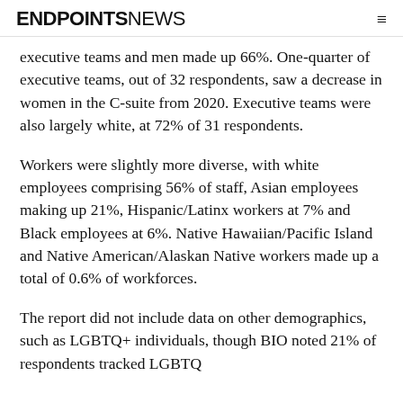ENDPOINTS NEWS
executive teams and men made up 66%. One-quarter of executive teams, out of 32 respondents, saw a decrease in women in the C-suite from 2020. Executive teams were also largely white, at 72% of 31 respondents.
Workers were slightly more diverse, with white employees comprising 56% of staff, Asian employees making up 21%, Hispanic/Latinx workers at 7% and Black employees at 6%. Native Hawaiian/Pacific Island and Native American/Alaskan Native workers made up a total of 0.6% of workforces.
The report did not include data on other demographics, such as LGBTQ+ individuals, though BIO noted 21% of respondents tracked LGBTQ